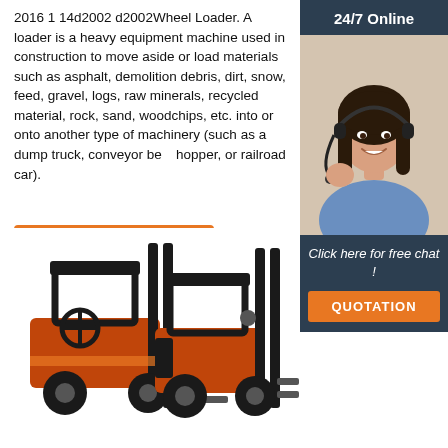2016 1 14d2002 d2002Wheel Loader. A loader is a heavy equipment machine used in construction to move aside or load materials such as asphalt, demolition debris, dirt, snow, feed, gravel, logs, raw minerals, recycled material, rock, sand, woodchips, etc. into or onto another type of machinery (such as a dump truck, conveyor belt, hopper, or railroad car).
Get Price
[Figure (photo): Sidebar with 24/7 Online label, photo of a smiling woman with a headset, Click here for free chat! text, and QUOTATION button]
[Figure (photo): Two orange and black forklifts photographed from the side, showing masts and operator cabins]